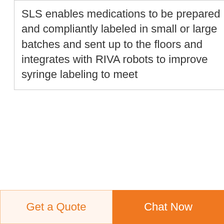SLS enables medications to be prepared and compliantly labeled in small or large batches and sent up to the floors and integrates with RIVA robots to improve syringe labeling to meet
Corning Cryogenic Vial STEMCELL Technologies
Corning Cryogenic Vials with Orange Caps are ideal for reliable sample cryostorage They sterilin d
[Figure (photo): Small product photo with blue background showing cryogenic vials]
[Figure (other): Scroll-to-top button: dark navy circle with white upward arrow]
Get a Quote
Chat Now